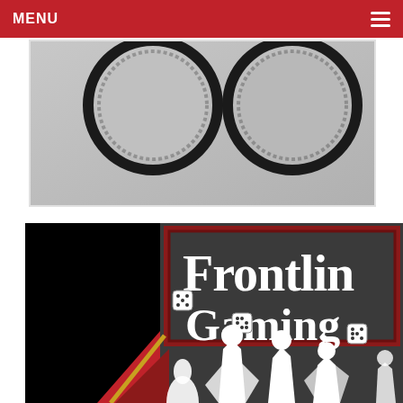MENU
[Figure (photo): Close-up photo of two circular dark-rimmed objects on a grey/white surface, partially cropped, shown in a white-bordered frame.]
[Figure (logo): Frontline Gaming logo: dark grey background with red border, white serif text reading 'Frontlin Gaming' (partially cropped), white dice icons, red diagonal stripe, and white silhouettes of fantasy/wargame miniature figures at the bottom.]